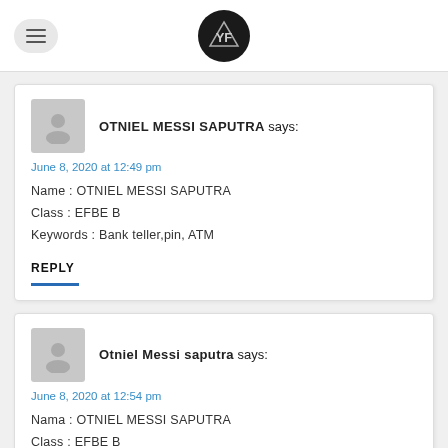[Logo and hamburger menu]
OTNIEL MESSI SAPUTRA says:
June 8, 2020 at 12:49 pm
Name : OTNIEL MESSI SAPUTRA
Class : EFBE B
Keywords : Bank teller,pin, ATM
REPLY
Otniel Messi saputra says:
June 8, 2020 at 12:54 pm
Nama : OTNIEL MESSI SAPUTRA
Class : EFBE B
Keywords : Bank teller,Pin, Atm